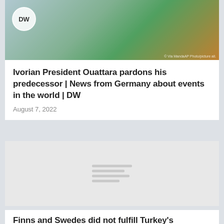[Figure (photo): DW news article header photo showing people, with DW circular logo in top left corner. Photo credit visible at bottom right.]
Ivorian President Ouattara pardons his predecessor | News from Germany about events in the world | DW
August 7, 2022
[Figure (photo): Loading placeholder image with grey background and horizontal loading indicator lines in the center.]
Finns and Swedes did not fulfill Turkey's conditions – Ankara will not support NATO